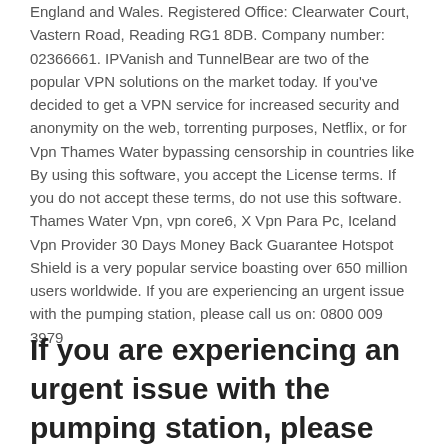England and Wales. Registered Office: Clearwater Court, Vastern Road, Reading RG1 8DB. Company number: 02366661. IPVanish and TunnelBear are two of the popular VPN solutions on the market today. If you've decided to get a VPN service for increased security and anonymity on the web, torrenting purposes, Netflix, or for Vpn Thames Water bypassing censorship in countries like By using this software, you accept the License terms. If you do not accept these terms, do not use this software. Thames Water Vpn, vpn core6, X Vpn Para Pc, Iceland Vpn Provider 30 Days Money Back Guarantee Hotspot Shield is a very popular service boasting over 650 million users worldwide. If you are experiencing an urgent issue with the pumping station, please call us on: 0800 009 3979
If you are experiencing an urgent issue with the pumping station, please